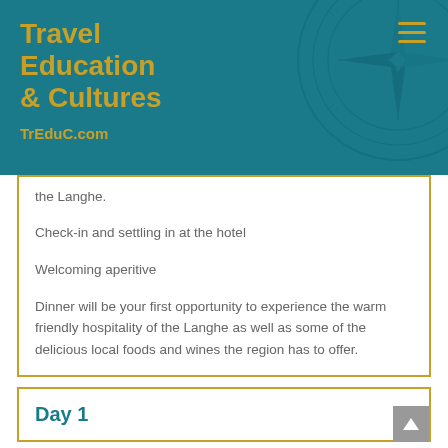Travel Education & Cultures
TrEduC.com
the Langhe.
Check-in and settling in at the hotel
Welcoming aperitive
Dinner will be your first opportunity to experience the warm friendly hospitality of the Langhe as well as some of the delicious local foods and wines the region has to offer.
Day 1